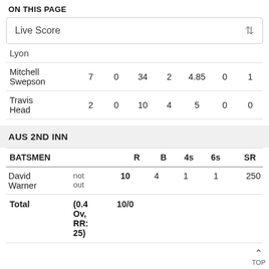ON THIS PAGE
Live Score
|  |  |  |  |  |  |  |  |
| --- | --- | --- | --- | --- | --- | --- | --- |
| Lyon |  |  |  |  |  |  |  |
| Mitchell Swepson | 7 | 0 | 34 | 2 | 4.85 | 0 | 1 |
| Travis Head | 2 | 0 | 10 | 4 | 5 | 0 | 0 |
AUS 2ND INN
| BATSMEN |  | R | B | 4s | 6s | SR |
| --- | --- | --- | --- | --- | --- | --- |
| David Warner | not out | 10 | 4 | 1 | 1 | 250 |
| Total | (0.4 Ov, RR: 25) | 10/0 |  |  |  |  |